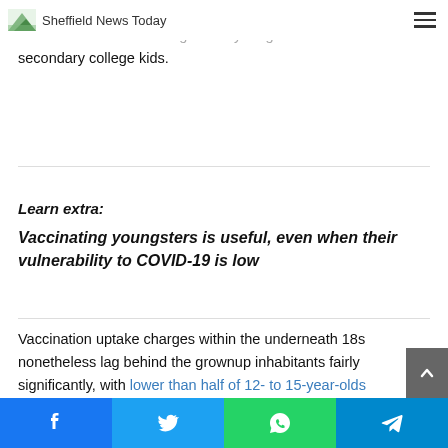Sheffield News Today
over the subsequent few months. By mid-November, charges of an infection have been highest in younger kids and secondary college kids.
Learn extra:
Vaccinating youngsters is useful, even when their vulnerability to COVID-19 is low
Vaccination uptake charges within the underneath 18s nonetheless lag behind the grownup inhabitants fairly significantly, with lower than half of 12- to 15-year-olds having obtained their first dose to date.
Facebook Twitter WhatsApp Telegram share buttons